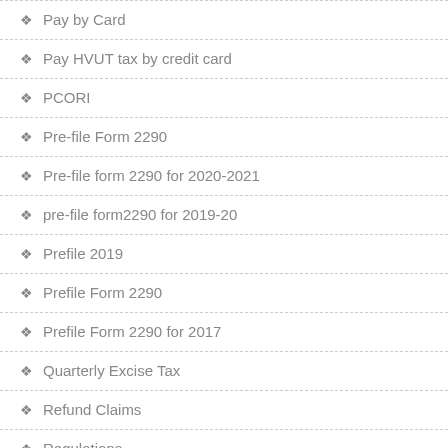Pay by Card
Pay HVUT tax by credit card
PCORI
Pre-file Form 2290
Pre-file form 2290 for 2020-2021
pre-file form2290 for 2019-20
Prefile 2019
Prefile Form 2290
Prefile Form 2290 for 2017
Quarterly Excise Tax
Refund Claims
Regulations
Schedule-1 Copy